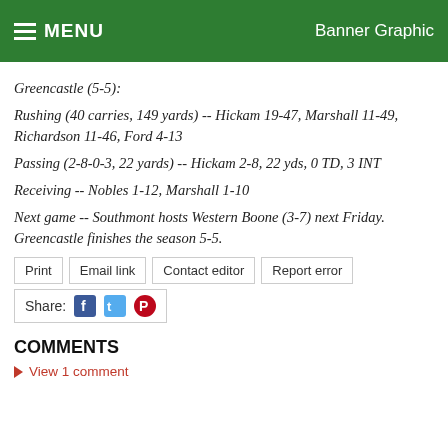MENU  Banner Graphic
Greencastle (5-5):
Rushing (40 carries, 149 yards) -- Hickam 19-47, Marshall 11-49, Richardson 11-46, Ford 4-13
Passing (2-8-0-3, 22 yards) -- Hickam 2-8, 22 yds, 0 TD, 3 INT
Receiving -- Nobles 1-12, Marshall 1-10
Next game -- Southmont hosts Western Boone (3-7) next Friday. Greencastle finishes the season 5-5.
Print  Email link  Contact editor  Report error
Share:
COMMENTS
View 1 comment